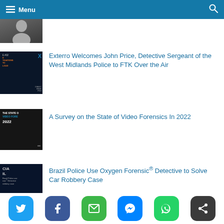Menu
[Figure (screenshot): Partial thumbnail of a person in suit at top of page]
Exterro Welcomes John Price, Detective Sergeant of the West Midlands Police to FTK Over the Air
[Figure (screenshot): Podcast thumbnail: Episode #12, Cloud Investigations, XP Over the Air podcast]
A Survey on the State of Video Forensics In 2022
[Figure (screenshot): Dark thumbnail: The State of Video Forensics 2022]
Brazil Police Use Oxygen Forensic® Detective to Solve Car Robbery Case
[Figure (screenshot): Dark blue thumbnail: CIA, Brazil Police use Oxygen Forensic Detective robbery case]
[Figure (infographic): Social sharing buttons: Twitter, Facebook, Email, Messenger, WhatsApp, Share]